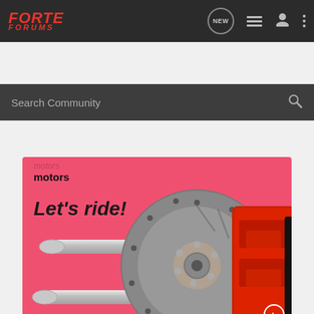[Figure (screenshot): Forte Forums mobile app navigation bar with red logo text and icons for NEW bubble, list, profile, and menu]
Search Community
[Figure (photo): Pink automotive banner showing chrome exhaust pipes on the left and a red Brembo brake disc and caliper on the right with text 'motors' and 'Let's ride!']
motors
Let's ride!
Take a look
WWW.AU-AV.COM